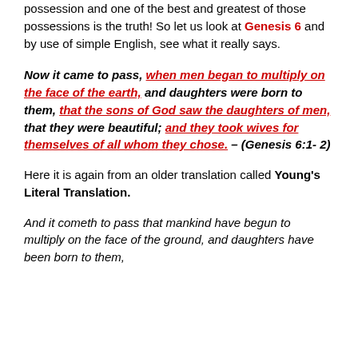possession and one of the best and greatest of those possessions is the truth! So let us look at Genesis 6 and by use of simple English, see what it really says.
Now it came to pass, when men began to multiply on the face of the earth, and daughters were born to them, that the sons of God saw the daughters of men, that they were beautiful; and they took wives for themselves of all whom they chose. – (Genesis 6:1- 2)
Here it is again from an older translation called Young's Literal Translation.
And it cometh to pass that mankind have begun to multiply on the face of the ground, and daughters have been born to them,